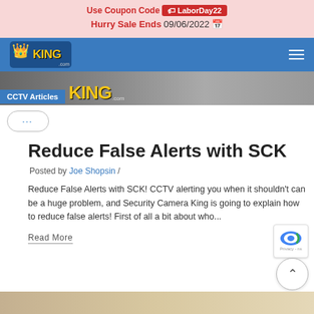Use Coupon Code LaborDay22 | Hurry Sale Ends 09/06/2022
[Figure (logo): Security Camera King logo on blue navigation bar with hamburger menu]
[Figure (screenshot): CCTV Articles hero image strip with Security Camera King logo text]
Reduce False Alerts with SCK
Posted by Joe Shopsin /
Reduce False Alerts with SCK! CCTV alerting you when it shouldn't can be a huge problem, and Security Camera King is going to explain how to reduce false alerts! First of all a bit about who...
Read More
[Figure (photo): Bottom thumbnail strip showing a light-colored surface]